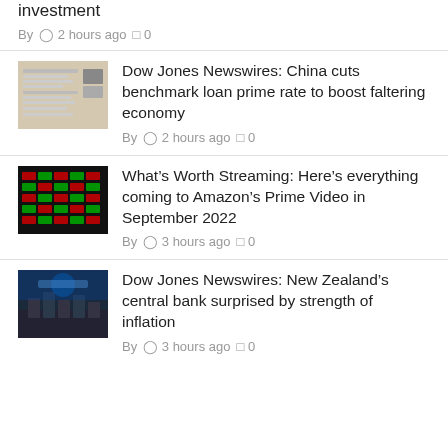investment
By  2 hours ago  0
Dow Jones Newswires: China cuts benchmark loan prime rate to boost faltering economy
By  2 hours ago  0
What's Worth Streaming: Here's everything coming to Amazon's Prime Video in September 2022
By  3 hours ago  0
Dow Jones Newswires: New Zealand's central bank surprised by strength of inflation
By  3 hours ago  0